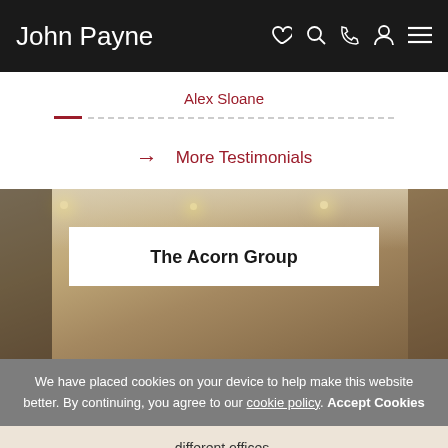John Payne
Alex Sloane
→ More Testimonials
[Figure (photo): Interior room photo with warm lighting, recessed ceiling lights, and light-colored walls]
The Acorn Group
We have placed cookies on your device to help make this website better. By continuing, you agree to our cookie policy. Accept Cookies
different offices.